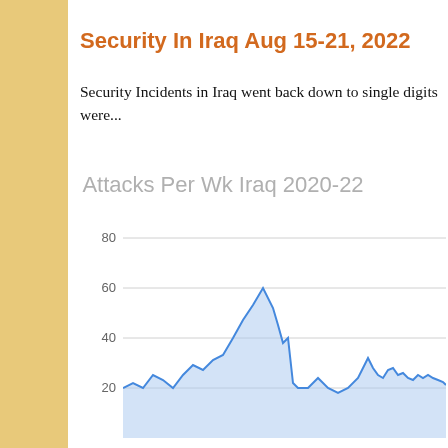Security In Iraq Aug 15-21, 2022
Security Incidents in Iraq went back down to single digits were...
[Figure (area-chart): Area/line chart showing attacks per week in Iraq from 2020 to 2022. Y-axis labeled 20, 40, 60, 80. A prominent spike to ~65 is visible in the middle section, with values generally between 10-30 elsewhere.]